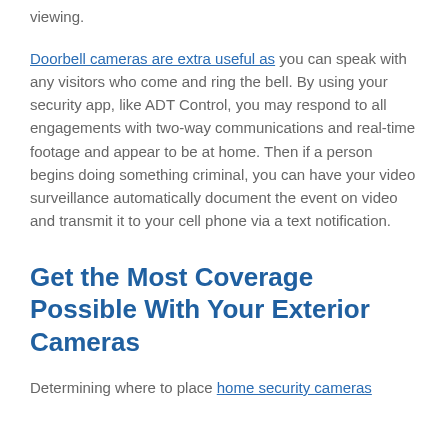viewing.
Doorbell cameras are extra useful as you can speak with any visitors who come and ring the bell. By using your security app, like ADT Control, you may respond to all engagements with two-way communications and real-time footage and appear to be at home. Then if a person begins doing something criminal, you can have your video surveillance automatically document the event on video and transmit it to your cell phone via a text notification.
Get the Most Coverage Possible With Your Exterior Cameras
Determining where to place home security cameras